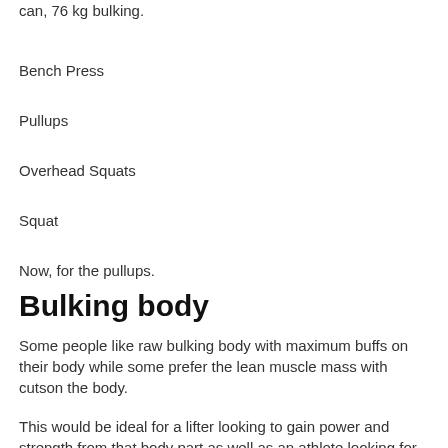can, 76 kg bulking.
Bench Press
Pullups
Overhead Squats
Squat
Now, for the pullups.
Bulking body
Some people like raw bulking body with maximum buffs on their body while some prefer the lean muscle mass with cutson the body.
This would be ideal for a lifter looking to gain power and strength from that body part as well as an athlete looking for extra speed/strength, body bulking.